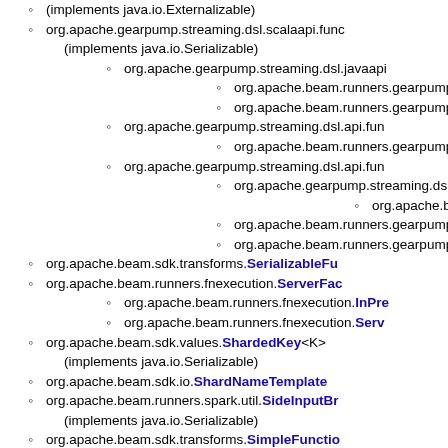(implements java.io.Externalizable)
org.apache.gearpump.streaming.dsl.scalaapi.func (implements java.io.Serializable)
org.apache.gearpump.streaming.dsl.javaapi
org.apache.beam.runners.gearpump.t
org.apache.beam.runners.gearpump.t
org.apache.gearpump.streaming.dsl.api.fun
org.apache.beam.runners.gearpump.t
org.apache.gearpump.streaming.dsl.api.fun
org.apache.gearpump.streaming.dsl.ja
org.apache.beam.runners.gearp
org.apache.beam.runners.gearpump.t
org.apache.beam.runners.gearpump.t
org.apache.beam.sdk.transforms.SerializableFu
org.apache.beam.runners.fnexecution.ServerFac
org.apache.beam.runners.fnexecution.InPre
org.apache.beam.runners.fnexecution.Serv
org.apache.beam.sdk.values.ShardedKey<K> (implements java.io.Serializable)
org.apache.beam.sdk.io.ShardNameTemplate
org.apache.beam.runners.spark.util.SideInputBr (implements java.io.Serializable)
org.apache.beam.sdk.transforms.SimpleFunction (implements org.apache.beam.sdk.transforms.display.HasDisplay org.apache.beam.sdk.transforms.SerializableFunc
org.apache.beam.sdk.extensions.sql.impl.tr
org.apache.beam.sdk.extensions.sql.impl.tr